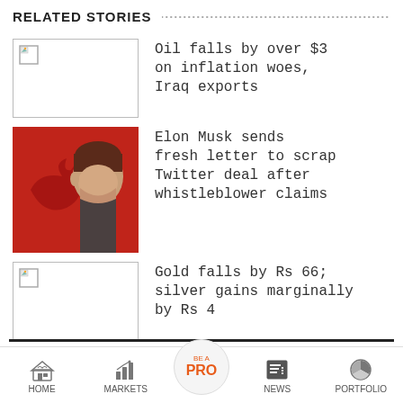RELATED STORIES
[Figure (photo): Broken/placeholder image thumbnail for oil story]
Oil falls by over $3 on inflation woes, Iraq exports
[Figure (photo): Photo of Elon Musk against a red background with Twitter bird logo]
Elon Musk sends fresh letter to scrap Twitter deal after whistleblower claims
[Figure (photo): Broken/placeholder image thumbnail for gold story]
Gold falls by Rs 66; silver gains marginally by Rs 4
HOME   MARKETS   BE A PRO   NEWS   PORTFOLIO